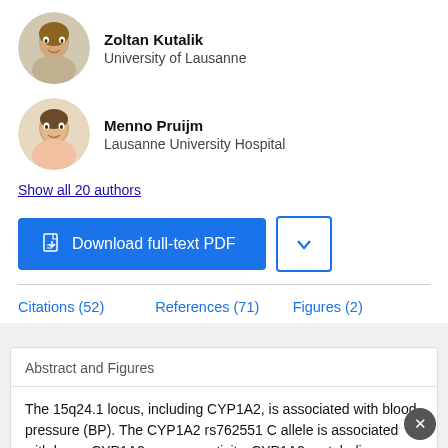[Figure (photo): Headshot photo of Zoltan Kutalik, a man smiling, circular crop]
Zoltan Kutalik
University of Lausanne
[Figure (photo): Headshot photo of Menno Pruijm, a man, circular crop]
Menno Pruijm
Lausanne University Hospital
Show all 20 authors
[Figure (other): Download full-text PDF button (blue) and dropdown chevron button]
Citations (52)    References (71)    Figures (2)
Abstract and Figures
The 15q24.1 locus, including CYP1A2, is associated with blood pressure (BP). The CYP1A2 rs762551 C allele is associated with lower CYP1A2 enzyme activity. CYP1A2 metabolizes